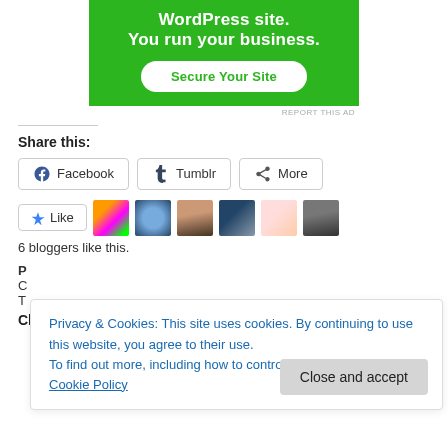[Figure (illustration): Green advertisement banner with text 'You run your business.' and a white 'Secure Your Site' button]
Share this:
[Figure (screenshot): Social share buttons: Facebook, Tumblr, More]
[Figure (screenshot): Like button with star icon and 6 blogger avatars]
6 bloggers like this.
Privacy & Cookies: This site uses cookies. By continuing to use this website, you agree to their use. To find out more, including how to control cookies, see here: Cookie Policy
Chinese, Dollar Tree, Family, Fishing, Mall, Night, Pond